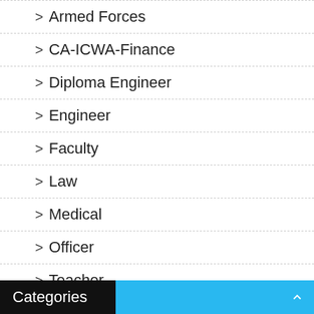> Armed Forces
> CA-ICWA-Finance
> Diploma Engineer
> Engineer
> Faculty
> Law
> Medical
> Officer
> Teacher
> Trainee
Categories